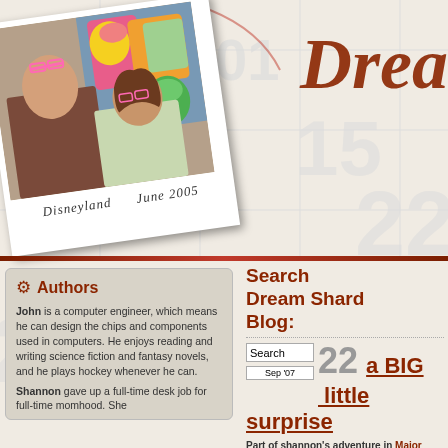[Figure (photo): Polaroid-style photo of a man and woman posing with Muppet characters (including Kermit the Frog, Beaker, and others) at Disneyland, June 2005. Caption reads: Disneyland  June 2005]
Drea
Authors
John is a computer engineer, which means he can design the chips and components used in computers. He enjoys reading and writing science fiction and fantasy novels, and he plays hockey whenever he can.
Shannon gave up a full-time desk job for full-time momhood. She
Search Dream Shard Blog:
a BIG little surprise
22  Sep '07
Part of shannon's adventure in Major Events, Our World,